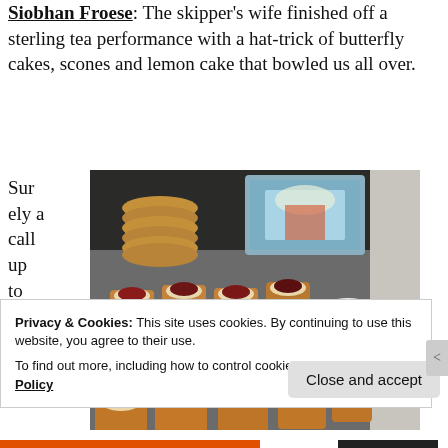Siobhan Froese: The skipper's wife finished off a sterling tea performance with a hat-trick of butterfly cakes, scones and lemon cake that bowled us all over.
Surely a call up to the Gre at
[Figure (photo): A tray of scones topped with cream and jam on a granite counter, with stacked crumpets/muffins, a decorative tin, and a bowl of cream in the background.]
Privacy & Cookies: This site uses cookies. By continuing to use this website, you agree to their use.
To find out more, including how to control cookies, see here: Cookie Policy
Close and accept